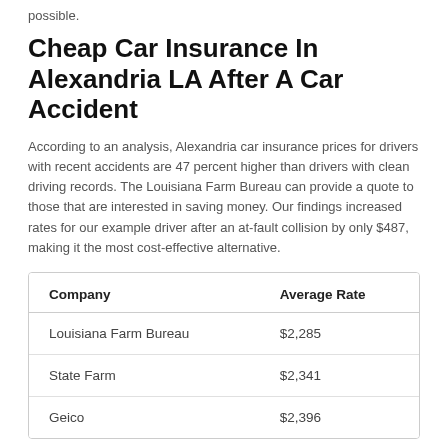possible.
Cheap Car Insurance In Alexandria LA After A Car Accident
According to an analysis, Alexandria car insurance prices for drivers with recent accidents are 47 percent higher than drivers with clean driving records. The Louisiana Farm Bureau can provide a quote to those that are interested in saving money. Our findings increased rates for our example driver after an at-fault collision by only $487, making it the most cost-effective alternative.
| Company | Average Rate |
| --- | --- |
| Louisiana Farm Bureau | $2,285 |
| State Farm | $2,341 |
| Geico | $2,396 |